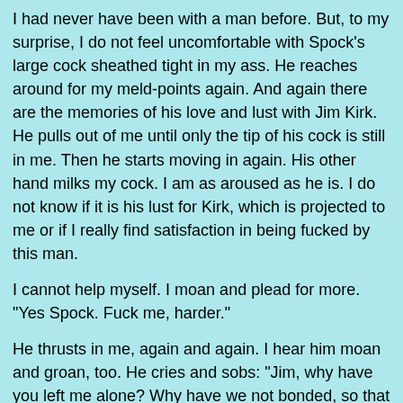I had never have been with a man before. But, to my surprise, I do not feel uncomfortable with Spock's large cock sheathed tight in my ass. He reaches around for my meld-points again. And again there are the memories of his love and lust with Jim Kirk. He pulls out of me until only the tip of his cock is still in me. Then he starts moving in again. His other hand milks my cock. I am as aroused as he is. I do not know if it is his lust for Kirk, which is projected to me or if I really find satisfaction in being fucked by this man.
I cannot help myself. I moan and plead for more. "Yes Spock. Fuck me, harder."
He thrusts in me, again and again. I hear him moan and groan, too. He cries and sobs: "Jim, why have you left me alone? Why have we not bonded, so that I can be with you?"
His emotions sweeping over us are deep and dark. There is so much pain, guilt and self-pity. I try to project thoughts and feelings to ease his pain. I tell him mentally that he can be happy for the time he had with his beloved. I tell him that he was loved and cared for and that this is more than most people of our species ever discover in their whole life.
I feel his pain slowly subside, and he can let go. He is